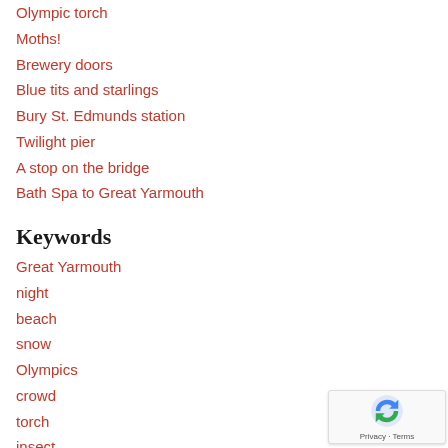Olympic torch
Moths!
Brewery doors
Blue tits and starlings
Bury St. Edmunds station
Twilight pier
A stop on the bridge
Bath Spa to Great Yarmouth
Keywords
Great Yarmouth
night
beach
snow
Olympics
crowd
torch
insect
moth
Adnams